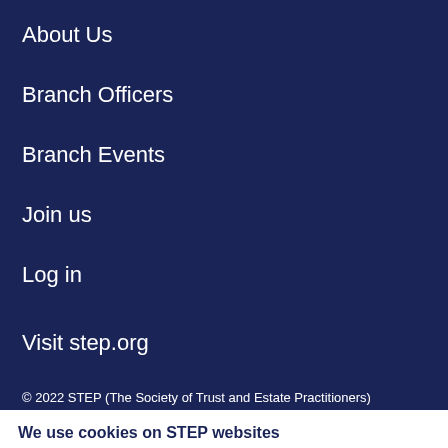About Us
Branch Officers
Branch Events
Join us
Log in
Visit step.org
© 2022 STEP (The Society of Trust and Estate Practitioners)
We use cookies on STEP websites
For the best user experience, we use cookies on this site. For more information on our cookie policy, please click on our updated privacy notice
OK